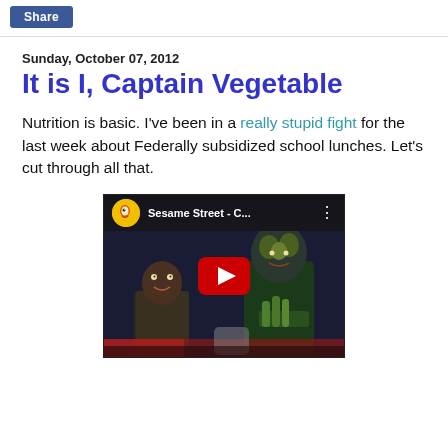Share
Sunday, October 07, 2012
It is I, Captain Vegetable
Nutrition is basic. I've been in a really stupid fight for the last week about Federally subsidized school lunches. Let's cut through all that.
[Figure (screenshot): YouTube video thumbnail showing Sesame Street - C... with two Muppet characters, one appearing to be Captain Vegetable holding vegetables, with a red YouTube play button overlay]